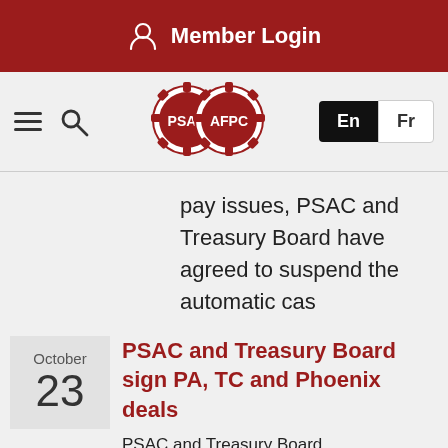Member Login
[Figure (logo): PSAC/AFPC interlocking gear logo, two red gears with PSAC and AFPC text]
pay issues, PSAC and Treasury Board have agreed to suspend the automatic cas
October 23
PSAC and Treasury Board sign PA, TC and Phoenix deals
PSAC and Treasury Board